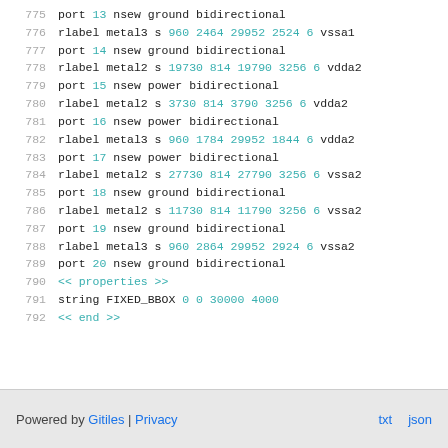775  port 13 nsew ground bidirectional
776  rlabel metal3 s 960 2464 29952 2524 6 vssa1
777  port 14 nsew ground bidirectional
778  rlabel metal2 s 19730 814 19790 3256 6 vdda2
779  port 15 nsew power bidirectional
780  rlabel metal2 s 3730 814 3790 3256 6 vdda2
781  port 16 nsew power bidirectional
782  rlabel metal3 s 960 1784 29952 1844 6 vdda2
783  port 17 nsew power bidirectional
784  rlabel metal2 s 27730 814 27790 3256 6 vssa2
785  port 18 nsew ground bidirectional
786  rlabel metal2 s 11730 814 11790 3256 6 vssa2
787  port 19 nsew ground bidirectional
788  rlabel metal3 s 960 2864 29952 2924 6 vssa2
789  port 20 nsew ground bidirectional
790  << properties >>
791  string FIXED_BBOX 0 0 30000 4000
792  << end >>
Powered by Gitiles | Privacy   txt  json